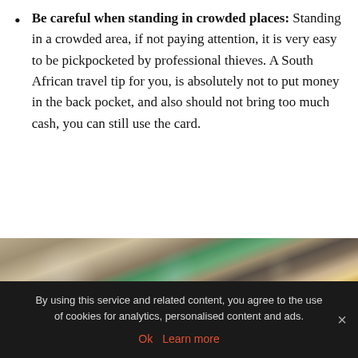Be careful when standing in crowded places: Standing in a crowded area, if not paying attention, it is very easy to be pickpocketed by professional thieves. A South African travel tip for you, is absolutely not to put money in the back pocket, and also should not bring too much cash, you can still use the card.
[Figure (photo): A blurry photo of a crowded outdoor market or bazaar with people, stalls, colorful signage, and goods on display.]
By using this service and related content, you agree to the use of cookies for analytics, personalised content and ads. Ok  Learn more